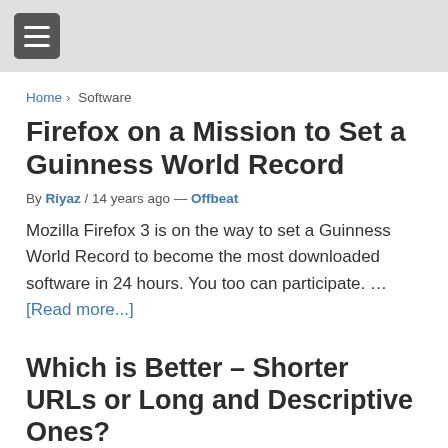[hamburger menu icon]
Home › Software
Firefox on a Mission to Set a Guinness World Record
By Riyaz / 14 years ago — Offbeat
Mozilla Firefox 3 is on the way to set a Guinness World Record to become the most downloaded software in 24 hours. You too can participate. … [Read more...]
Which is Better – Shorter URLs or Long and Descriptive Ones?
By Riyaz / … — Blogging